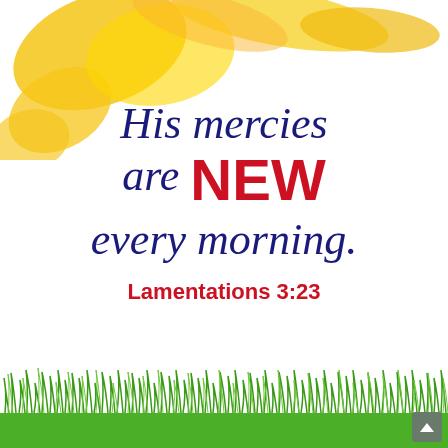[Figure (illustration): Watercolor-style yellow/orange sun in upper left corner with brushstroke petals on a white background]
His mercies are NEW every morning.
Lamentations 3:23
[Figure (illustration): Green grass silhouette strip along bottom of image]